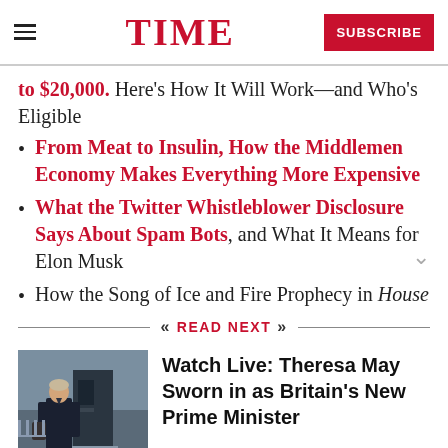TIME | SUBSCRIBE
to $20,000. Here’s How It Will Work—and Who’s Eligible
From Meat to Insulin, How the Middlemen Economy Makes Everything More Expensive
What the Twitter Whistleblower Disclosure Says About Spam Bots, and What It Means for Elon Musk
How the Song of Ice and Fire Prophecy in House
« READ NEXT »
[Figure (photo): Photo of Theresa May standing outside, wearing dark coat, in front of a door]
Watch Live: Theresa May Sworn in as Britain’s New Prime Minister